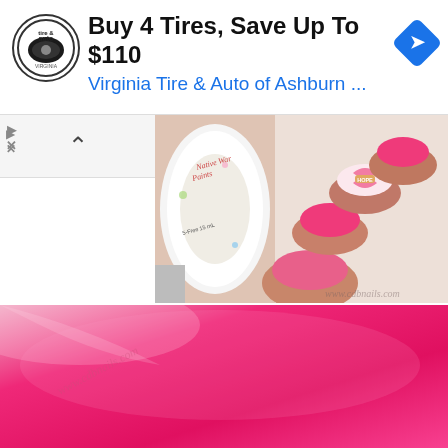[Figure (screenshot): Advertisement banner for Virginia Tire & Auto of Ashburn featuring logo and text: Buy 4 Tires, Save Up To $110]
Buy 4 Tires, Save Up To $110
Virginia Tire & Auto of Ashburn ...
[Figure (photo): Close-up photo of pink manicured nails with a breast cancer awareness HOPE ribbon design on one nail and a Native War Paints nail polish bottle. Watermark: www.cdbnails.com]
[Figure (photo): Close-up macro photo of bright pink/magenta nail polish on a nail. Watermark: www.cdbnails.com]